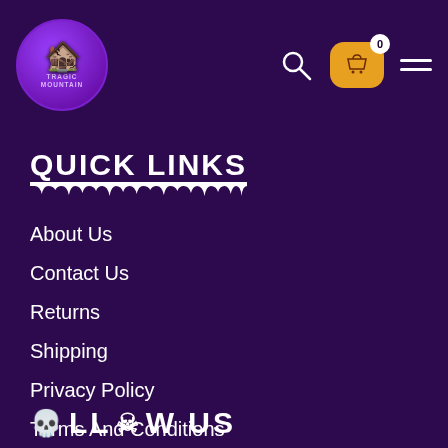[Figure (logo): Tragic Mountain logo — circular purple badge with a pixel-art castle and text 'TRAGIC MOUNTAIN']
[Figure (other): Navigation header icons: search (magnifying glass), shopping cart with badge showing 0, hamburger menu]
QUICK LINKS
About Us
Contact Us
Returns
Shipping
Privacy Policy
Terms And Conditions
Faq's
FOLLOW US